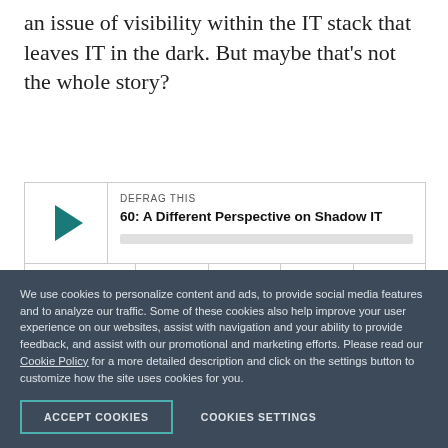an issue of visibility within the IT stack that leaves IT in the dark. But maybe that's not the whole story?
[Figure (screenshot): Podcast player widget for 'DEFRAG THIS' episode 60: A Different Perspective on Shadow IT, showing a play button, progress bar, time display 00:00:00, and control icons for RSS, download, embed, and settings.]
Usually, when shadow IT happens though, it's because IT is not allowing for fast workflows or
We use cookies to personalize content and ads, to provide social media features and to analyze our traffic. Some of these cookies also help improve your user experience on our websites, assist with navigation and your ability to provide feedback, and assist with our promotional and marketing efforts. Please read our Cookie Policy for a more detailed description and click on the settings button to customize how the site uses cookies for you.
ACCEPT COOKIES
COOKIES SETTINGS